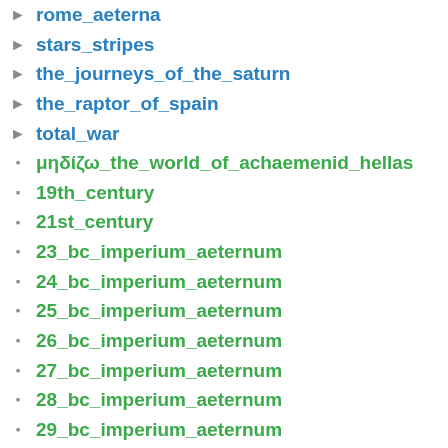rome_aeterna
stars_stripes
the_journeys_of_the_saturn
the_raptor_of_spain
total_war
μηδίζω_the_world_of_achaemenid_hellas
19th_century
21st_century
23_bc_imperium_aeternum
24_bc_imperium_aeternum
25_bc_imperium_aeternum
26_bc_imperium_aeternum
27_bc_imperium_aeternum
28_bc_imperium_aeternum
29_bc_imperium_aeternum
30_bc_imperium_aeternum
31_bc_imperium_aeternum
32_bc_imperium_aeternum
33_bc_imperium_aeternum
34_bc_imperium_aeternum
35_bc_imperium_aeternum